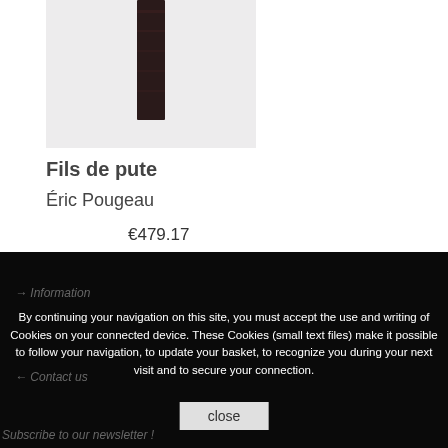[Figure (photo): A dark rectangular art object (book or sculpture) shown vertically against a light gray/white background]
Fils de pute
Éric Pougeau
€479.17
Add to cart
→ Information
← Contact us
By continuing your navigation on this site, you must accept the use and writing of Cookies on your connected device. These Cookies (small text files) make it possible to follow your navigation, to update your basket, to recognize you during your next visit and to secure your connection.
close
Subscribe to our newsletter !